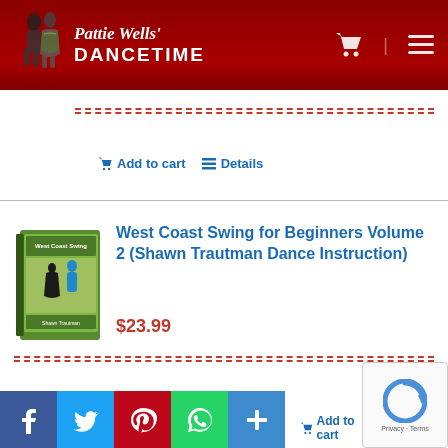[Figure (logo): Pattie Wells' Dancetime logo with dancing couple silhouette on dark red header background]
Add to cart
Details
[Figure (photo): DVD cover for West Coast Swing for Beginners Volume 2 by Shawn Trautman showing a couple dancing]
West Coast Swing for Beginners Volume 2 (Shawn Trautman Dance Instruction)
$23.99
Add to cart
Details